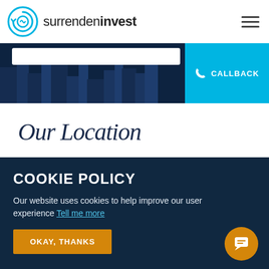[Figure (logo): Surrenden Invest logo with circular arrow icon and brand name]
[Figure (screenshot): Dark navy hero banner with search bar, 'Priv...' text and cyan CALLBACK button]
Our Location
COOKIE POLICY
Our website uses cookies to help improve our user experience Tell me more
OKAY, THANKS